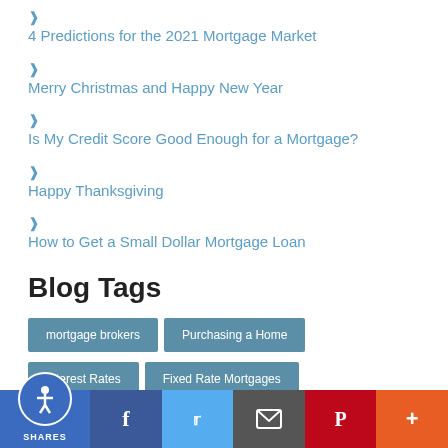> 4 Predictions for the 2021 Mortgage Market
> Merry Christmas and Happy New Year
> Is My Credit Score Good Enough for a Mortgage?
> Happy Thanksgiving
> How to Get a Small Dollar Mortgage Loan
Blog Tags
mortgage brokers
Purchasing a Home
Interest Rates
Fixed Rate Mortgages